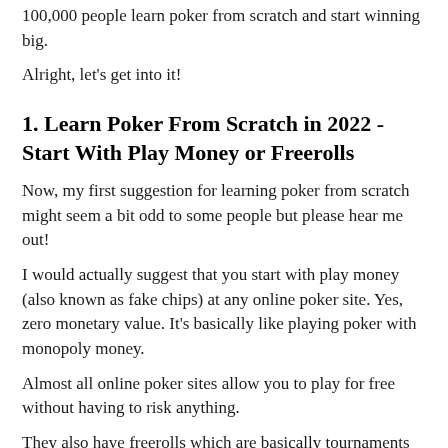100,000 people learn poker from scratch and start winning big.
Alright, let's get into it!
1. Learn Poker From Scratch in 2022 - Start With Play Money or Freerolls
Now, my first suggestion for learning poker from scratch might seem a bit odd to some people but please hear me out!
I would actually suggest that you start with play money (also known as fake chips) at any online poker site. Yes, zero monetary value. It's basically like playing poker with monopoly money.
Almost all online poker sites allow you to play for free without having to risk anything.
They also have freerolls which are basically tournaments where it costs nothing to enter but if you win, then you will profit a small amount of real money.